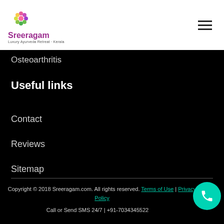[Figure (logo): Sreeragam luxury Ayurveda resort logo with flower icon]
Osteoarthritis
Useful links
Contact
Reviews
Sitemap
Blog
Copyright © 2018 Sreeragam.com. All rights reserved. Terms of Use | Privacy Policy
Call or Send SMS 24/7 | +91-7034345522